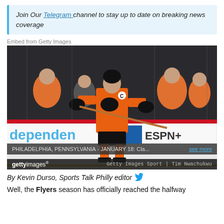Join Our Telegram channel to stay up to date on breaking news coverage
Embed from Getty Images
[Figure (photo): Philadelphia Flyers player wearing orange jersey with captain C, holding a hockey stick on the ice. Rink boards show 'dependen' and 'ESPN+' logos. Audience visible in background.]
PHILADELPHIA, PENNSYLVANIA - JANUARY 18: Cla... see more
Getty Images Sport | Tim Nwachukwu
By Kevin Durso, Sports Talk Philly editor
Well, the Flyers season has officially reached the halfway